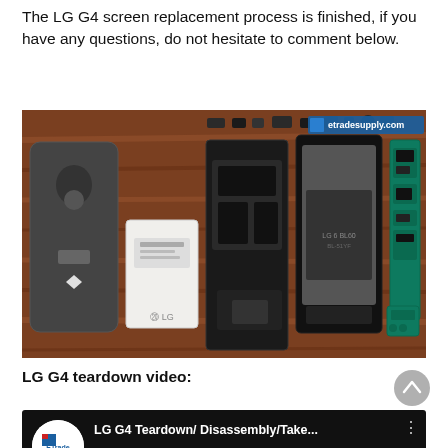The LG G4 screen replacement process is finished, if you have any questions, do not hesitate to comment below.
[Figure (photo): LG G4 disassembled phone parts laid out on a wooden table: back cover, battery, mid-frame chassis, screen assembly, and motherboard/PCB components. Watermark: etradesupply.com]
LG G4 teardown video:
[Figure (screenshot): YouTube video thumbnail for 'LG G4 Teardown/ Disassembly/Take...' by ETrade Supply channel, with etradesupply.com watermark and three-dot menu icon]